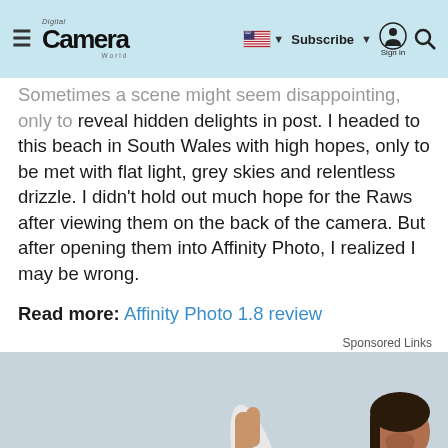Digital Camera World — Subscribe Sign in
Sometimes a scene might seem disappointing, only to reveal hidden delights in post. I headed to this beach in South Wales with high hopes, only to be met with flat light, grey skies and relentless drizzle. I didn't hold out much hope for the Raws after viewing them on the back of the camera. But after opening them into Affinity Photo, I realized I may be wrong.
Read more: Affinity Photo 1.8 review
Sponsored Links
[Figure (photo): A smiling woman at the beach holding a surfboard, with a light grey sky background.]